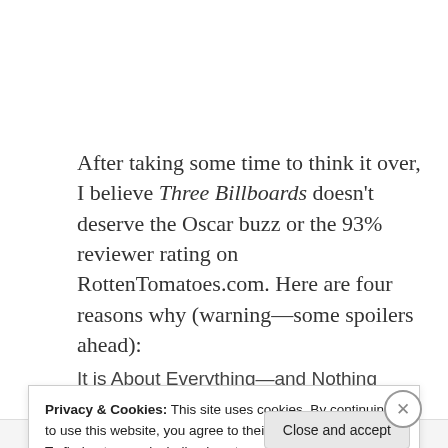After taking some time to think it over, I believe Three Billboards doesn't deserve the Oscar buzz or the 93% reviewer rating on RottenTomatoes.com. Here are four reasons why (warning—some spoilers ahead):
It is About Everything—and Nothing
Privacy & Cookies: This site uses cookies. By continuing to use this website, you agree to their use.
To find out more, including how to control cookies, see here: Cookie Policy